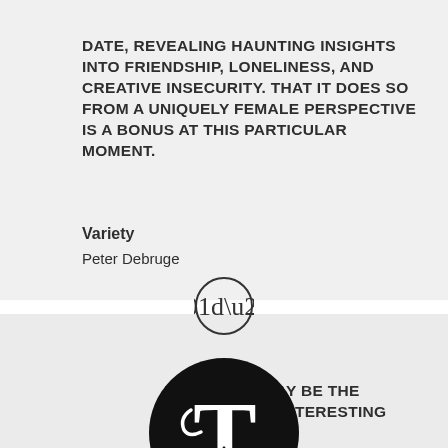DATE, REVEALING HAUNTING INSIGHTS INTO FRIENDSHIP, LONELINESS, AND CREATIVE INSECURITY. THAT IT DOES SO FROM A UNIQUELY FEMALE PERSPECTIVE IS A BONUS AT THIS PARTICULAR MOMENT.
Variety
Peter Debruge
[Figure (logo): Quotation mark icon in a circle outline]
[Figure (logo): New York Times circular logo - black circle with white T letter in blackletter style]
LEE ISRAEL MAY BE THE SINGLE MOST INTERESTING MOVIE...